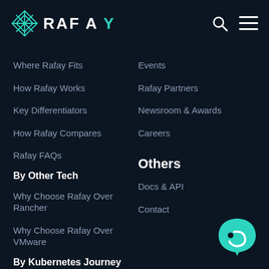[Figure (logo): Rafay logo with teal geometric diamond/lattice icon and white RAFAY text with teal checkmark on Y]
Where Rafay Fits
How Rafay Works
Key Differentiators
How Rafay Compares
Rafay FAQs
By Other Tech
Why Choose Rafay Over Rancher
Why Choose Rafay Over VMware
By Kubernetes Journey
Early to Kubernetes
Events
Rafay Partners
Newsroom & Awards
Careers
Others
Docs & API
Contact
[Figure (illustration): Teal chat/support widget icon in bottom right corner]